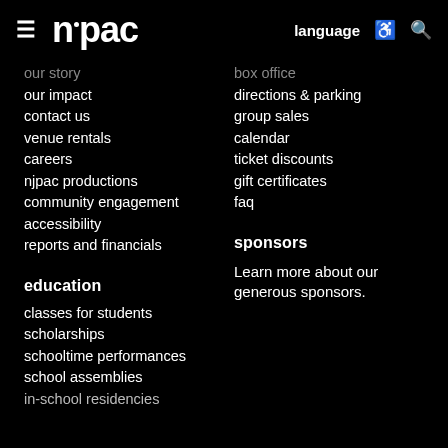njpac | language [accessibility] [search]
our story
box office
our impact
directions & parking
contact us
group sales
venue rentals
calendar
careers
ticket discounts
njpac productions
gift certificates
community engagement
faq
accessibility
reports and financials
education
sponsors
classes for students
Learn more about our generous sponsors.
scholarships
schooltime performances
school assemblies
in-school residencies